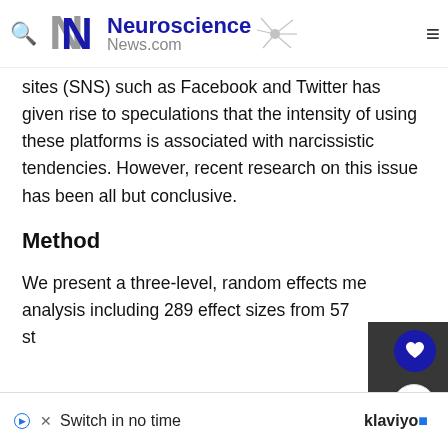Neuroscience News.com
sites (SNS) such as Facebook and Twitter has given rise to speculations that the intensity of using these platforms is associated with narcissistic tendencies. However, recent research on this issue has been all but conclusive.
Method
We present a three-level, random effects meta-analysis including 289 effect sizes from 57 studies...
Switch in no time  klaviyo